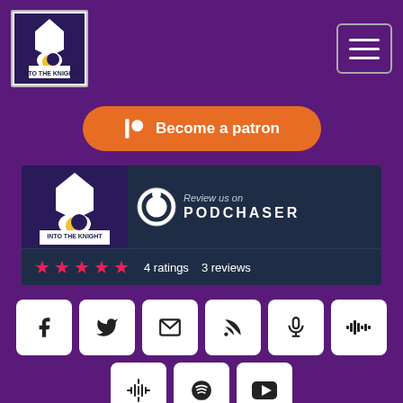[Figure (screenshot): Into The Knight podcast logo – knight figure with crescent moon, white background]
[Figure (screenshot): Hamburger menu button with three horizontal lines on purple background]
[Figure (screenshot): Orange Patreon button with Patreon icon and text 'Become a patron']
[Figure (screenshot): Podchaser review banner showing Into The Knight podcast art, Podchaser logo, 4 ratings and 3 reviews with pink stars]
[Figure (screenshot): Social media icon buttons: Facebook, Twitter, Email, RSS, Podcast, Stitcher, Google Podcasts, Spotify, YouTube]
All Episodes / 2019
Episode 127 - SPOTLIGHT: The Waxing and Waning - An ITK Yearbook